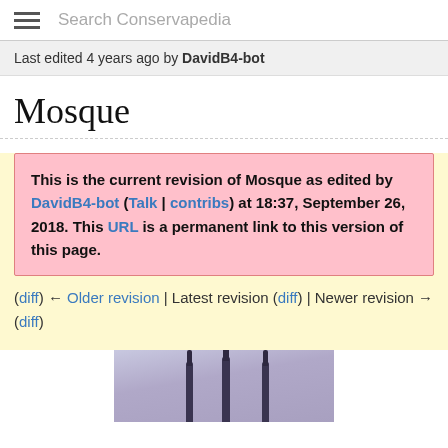Search Conservapedia
Last edited 4 years ago by DavidB4-bot
Mosque
This is the current revision of Mosque as edited by DavidB4-bot (Talk | contribs) at 18:37, September 26, 2018. This URL is a permanent link to this version of this page.
(diff) ← Older revision | Latest revision (diff) | Newer revision → (diff)
[Figure (photo): Photo of mosque minarets against a purple-grey sky]